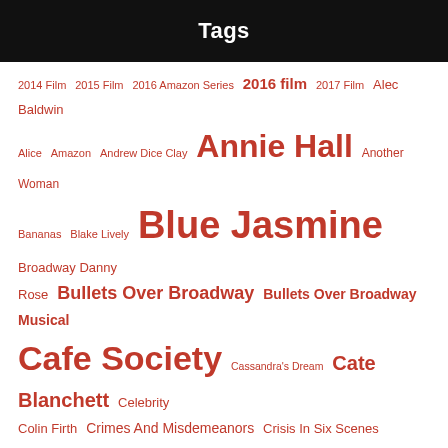Tags
2014 Film 2015 Film 2016 Amazon Series 2016 film 2017 Film Alec Baldwin Alice Amazon Andrew Dice Clay Annie Hall Another Woman Bananas Blake Lively Blue Jasmine Broadway Danny Rose Bullets Over Broadway Bullets Over Broadway Musical Cafe Society Cassandra's Dream Cate Blanchett Celebrity Colin Firth Crimes And Misdemeanors Crisis In Six Scenes Deconstructing Harry Diane Keaton Emma Stone Everyone Says I Love You Everything You Always Wanted to Know About Sex Fading Gigolo Hannah And Her Sisters Husbands And Wives Interiors Irrational Man Jesse Eisenberg Joaquin Phoenix John Turturro Juno Temple Justin Timberlake Kate Winslet Kristen Stewart